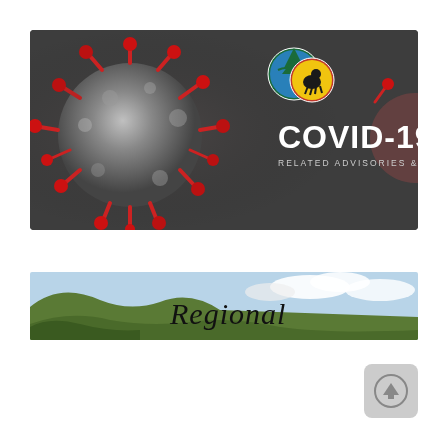[Figure (infographic): COVID-19 Related Advisories and Updates banner with coronavirus illustration on dark gray background and two circular logos (DENR and other agency). Text reads 'COVID-19 RELATED ADVISORIES & UPDATES'.]
[Figure (infographic): Regional banner showing a landscape photo with hills and sky, overlaid with the word 'Regional' in cursive black text.]
[Figure (other): Gray rounded square button with an upward arrow icon (scroll to top).]